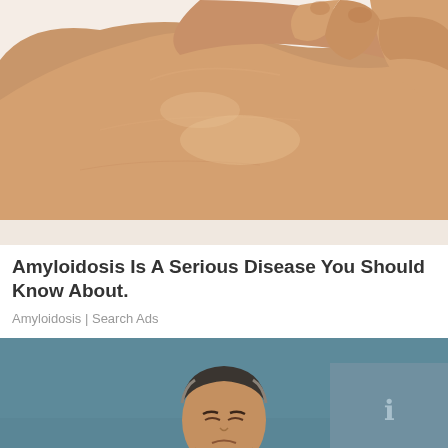[Figure (photo): Close-up photo of a person's foot and ankle being examined or touched by hands, showing possible swelling, on a white background.]
Amyloidosis Is A Serious Disease You Should Know About.
Amyloidosis | Search Ads
[Figure (photo): A middle-aged man with dark hair bending forward in apparent pain or discomfort, against a teal/blue-grey background. An overlay box appears in the top right corner.]